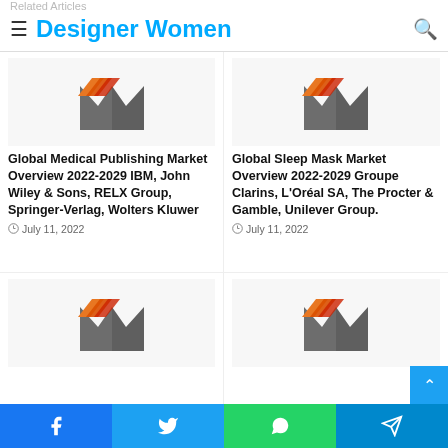Related Articles
Designer Women
[Figure (logo): Markets Research logo — stylized M with orange/red chevron stripes]
Global Medical Publishing Market Overview 2022-2029 IBM, John Wiley & Sons, RELX Group, Springer-Verlag, Wolters Kluwer
July 11, 2022
[Figure (logo): Markets Research logo — stylized M with orange/red chevron stripes]
Global Sleep Mask Market Overview 2022-2029 Groupe Clarins, L'Oréal SA, The Procter & Gamble, Unilever Group.
July 11, 2022
[Figure (logo): Markets Research logo — stylized M with orange/red chevron stripes]
[Figure (logo): Markets Research logo — stylized M with orange/red chevron stripes]
Facebook Twitter WhatsApp Telegram